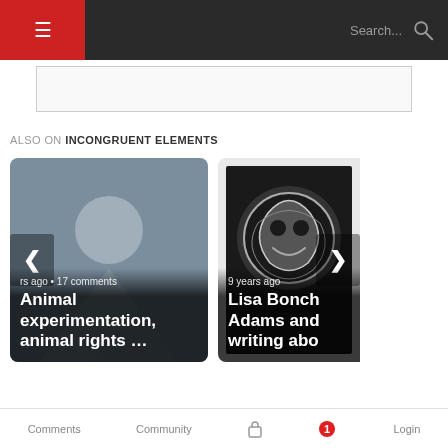Navigation header with hamburger menu and search bar for Incongruent Elements website
[Figure (screenshot): Advertisement placeholder banner]
ALSO ON INCONGRUENT ELEMENTS
[Figure (screenshot): Article card: Animal experimentation, animal rights ... — years ago • 17 comments]
[Figure (screenshot): Article card: Lisa Bonch Adams and writing abo... — 9 years ago]
Comments  Community  (lock icon)  (notification badge: 1)  Login